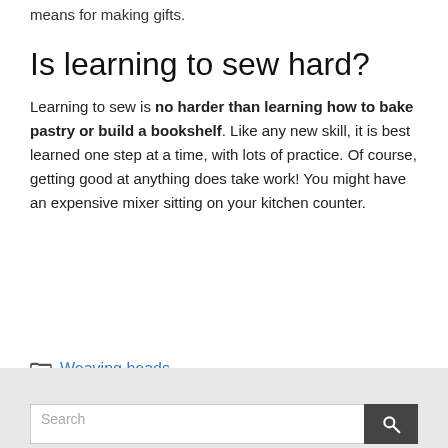means for making gifts.
Is learning to sew hard?
Learning to sew is no harder than learning how to bake pastry or build a bookshelf. Like any new skill, it is best learned one step at a time, with lots of practice. Of course, getting good at anything does take work! You might have an expensive mixer sitting on your kitchen counter.
Weaving beads
Search